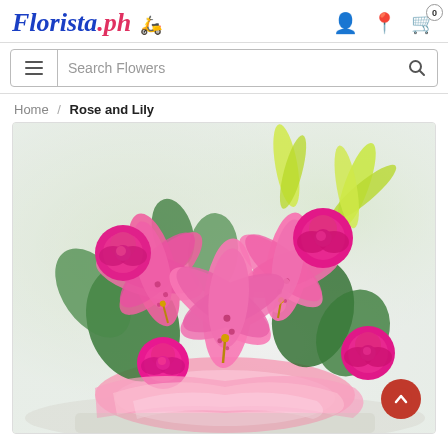Florista.ph — header with logo, account, location, and cart icons
Search Flowers
Home / Rose and Lily
[Figure (photo): A bouquet of pink roses and pink stargazer lilies with green leaves and white baby's breath, wrapped in pink tissue paper, photographed against a soft blurred background.]